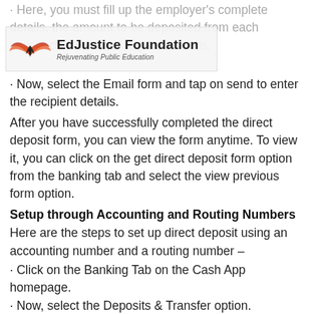EdjJustice Foundation – Rejuvenating Public Education
· Here, you must fill up the employer's complete details, the amount to be deposited from each paycheck, and other required details.
· Now, select the Email form and tap on send to enter the recipient details.
After you have successfully completed the direct deposit form, you can view the form anytime. To view it, you can click on the get direct deposit form option from the banking tab and select the view previous form option.
Setup through Accounting and Routing Numbers
Here are the steps to set up direct deposit using an accounting number and a routing number –
· Click on the Banking Tab on the Cash App homepage.
· Now, select the Deposits & Transfer option.
· Click Copy Details.
· Supply the routing and account number